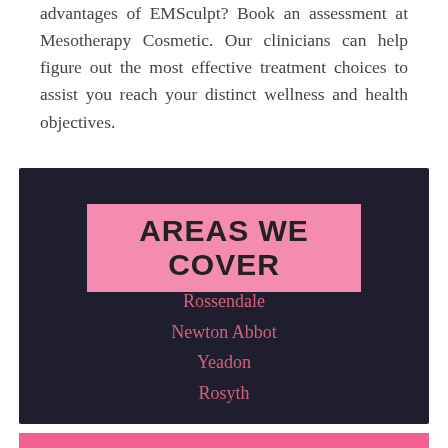advantages of EMSculpt? Book an assessment at Mesotherapy Cosmetic. Our clinicians can help figure out the most effective treatment choices to assist you reach your distinct wellness and health objectives.
AREAS WE COVER
Rossendale
Newton Abbot
Yeadon
Rosyth